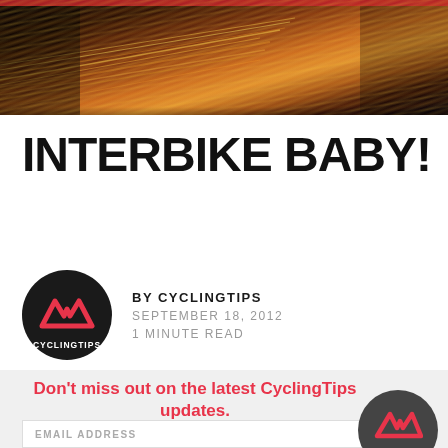[Figure (photo): Night cityscape with light trails from traffic, warm orange and yellow tones against dark sky]
INTERBIKE BABY!
[Figure (logo): CyclingTips circular logo with dark background and red mountain/wave symbol]
BY CYCLINGTIPS
SEPTEMBER 18, 2012
1 MINUTE READ
Don't miss out on the latest CyclingTips updates.
EMAIL ADDRESS
[Figure (logo): CyclingTips circular logo (dark grey) with red mountain/wave symbol and ENTER label below]